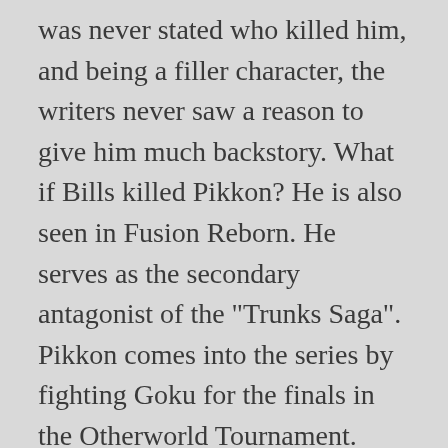was never stated who killed him, and being a filler character, the writers never saw a reason to give him much backstory. What if Bills killed Pikkon? He is also seen in Fusion Reborn. He serves as the secondary antagonist of the "Trunks Saga". Pikkon comes into the series by fighting Goku for the finals in the Otherworld Tournament. Title says it all y'all :datass. The series takes place in a fictional universe, the same world as Toriyama's previo Vinland Saga just finished out its first season with one of the most shocking finales of anime not just for 2019, but perhaps for the history of the medium in general. if goku had been training a lot before the other world tournament began than